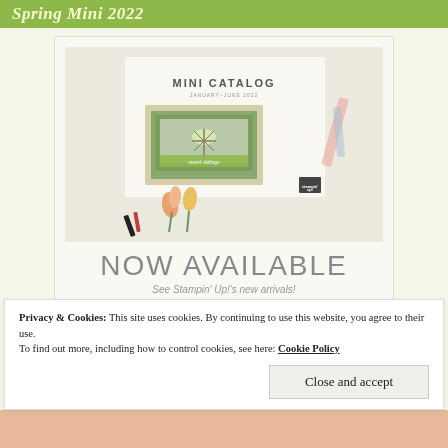Spring Mini 2022
[Figure (illustration): Stampin' Up! Spring Mini 2022 catalog cover showing floral scene with tulips, craft supplies, and a windmill card. Text reads MINI CATALOG, NOW AVAILABLE, See Stampin' Up!'s new arrivals!, CONTACT ME TO START SHOPPING]
Privacy & Cookies: This site uses cookies. By continuing to use this website, you agree to their use.
To find out more, including how to control cookies, see here: Cookie Policy
Close and accept